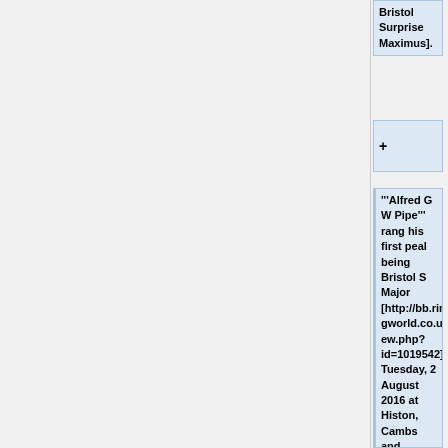Bristol Surprise Maximus].
+
'''Alfred G W Pipe''' rang his first peal being Bristol S Major [http://bb.ringingworld.co.uk/view.php?id=1019542]on Tuesday, 2 August 2016 at Histon, Cambs and subsequently his first on 12 being 5042 Cambridge Surprise [http://bb.ringin